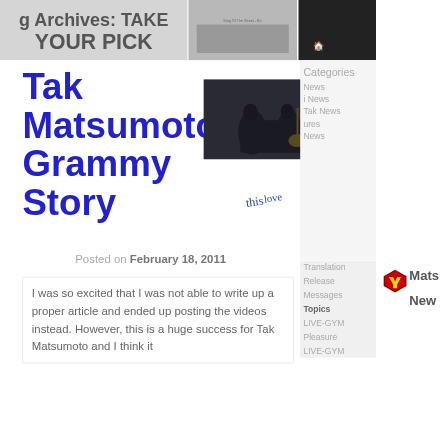g Archives: TAKE YOUR PICK
[Figure (photo): Grey album/record image with text 'King Of The Street - B'z']
[Figure (photo): Dark top right corner image]
Tak Matsumoto's Grammy Story
[Figure (photo): Two musicians playing guitar in dark forest setting]
[Figure (illustration): Handwritten cursive text reading 'this love']
Categories
News
i News
Tak News
ures
News
Translation
Release
Messages
Topics
LIVE-GYM
Pleasure
LIVE-GYM
Posted on February 18, 2011
I was so excited that I was not able to write up a proper article and ended up posting the videos instead. However, this is a huge success for Tak Matsumoto and I think it
[Figure (logo): Shield-shaped logo with stylized design in red/gold]
Mats
New